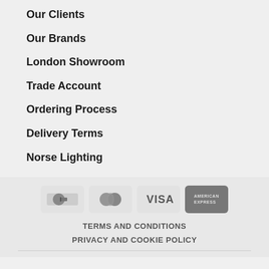Our Clients
Our Brands
London Showroom
Trade Account
Ordering Process
Delivery Terms
Norse Lighting
[Figure (logo): Payment method icons: Sage Pay, Mastercard, Visa, American Express]
TERMS AND CONDITIONS
PRIVACY AND COOKIE POLICY